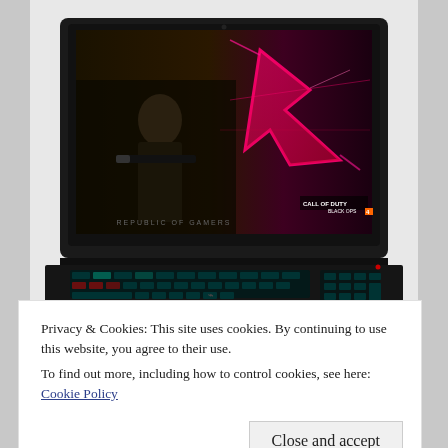[Figure (photo): ASUS ROG gaming laptop open, showing Call of Duty Black Ops 4 on screen with ROG logo glowing pink/magenta. Keyboard is backlit in teal/blue. Republic of Gamers branding visible.]
Privacy & Cookies: This site uses cookies. By continuing to use this website, you agree to their use.
To find out more, including how to control cookies, see here: Cookie Policy
Close and accept
[Figure (photo): Partial bottom view of a dark gaming laptop]